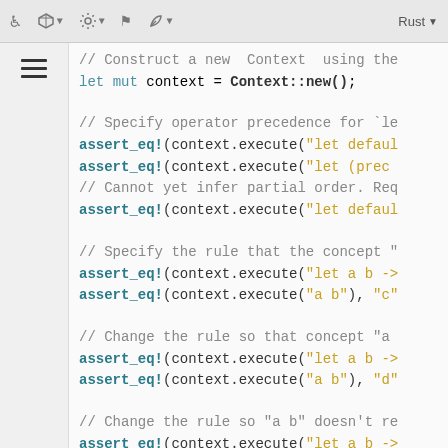Toolbar with icons and Rust language selector
[Figure (screenshot): IDE/editor toolbar with icons: puzzle piece, cube with arrow, gear with arrow, flag, leaf with arrow, and Rust language selector]
// Construct a new  Context  using the
let mut context = Context::new();
// Specify operator precedence for `le
assert_eq!(context.execute("let defaul
assert_eq!(context.execute("let (prec
// Cannot yet infer partial order. Req
assert_eq!(context.execute("let defaul
// Specify the rule that the concept "
assert_eq!(context.execute("let a b ->
assert_eq!(context.execute("a b"), "c"
// Change the rule so that concept "a
assert_eq!(context.execute("let a b ->
assert_eq!(context.execute("a b"), "d"
// Change the rule so "a b" doesn't re
assert_eq!(context.execute("let a b ->